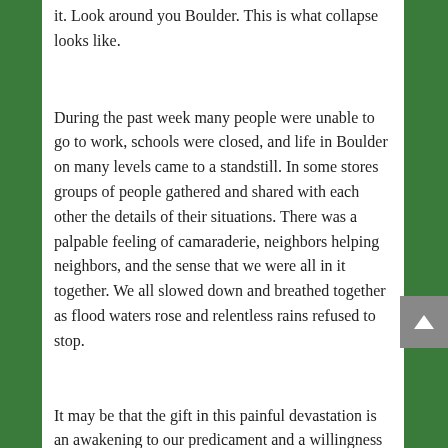it. Look around you Boulder. This is what collapse looks like.
During the past week many people were unable to go to work, schools were closed, and life in Boulder on many levels came to a standstill. In some stores groups of people gathered and shared with each other the details of their situations. There was a palpable feeling of camaraderie, neighbors helping neighbors, and the sense that we were all in it together. We all slowed down and breathed together as flood waters rose and relentless rains refused to stop.
It may be that the gift in this painful devastation is an awakening to our predicament and a willingness to call it what it is. We no longer inhabit a bubble. We are living the